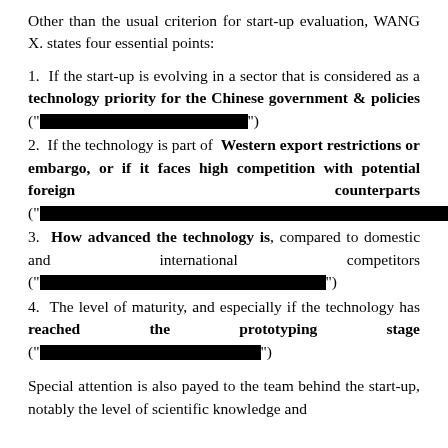Other than the usual criterion for start-up evaluation, WANG X. states four essential points:
1. If the start-up is evolving in a sector that is considered as a technology priority for the Chinese government & policies (“▨▨▨▨▨▨▨▨▨▨▨▨▨▨▨▨”)
2. If the technology is part of Western export restrictions or embargo, or if it faces high competition with potential foreign counterparts (“▨▨▨▨▨▨▨▨▨▨▨▨▨▨▨▨▨▨▨▨▨▨▨▨▨▨▨▨▨▨▨▨▨▨”)
3. How advanced the technology is, compared to domestic and international competitors (“▨▨▨▨▨▨▨▨▨▨▨▨▨▨▨▨▨▨▨▨▨▨”)
4. The level of maturity, and especially if the technology has reached the prototyping stage (“▨▨▨▨▨▨▨▨▨▨▨▨▨▨▨▨▨”)
Special attention is also payed to the team behind the start-up, notably the level of scientific knowledge and